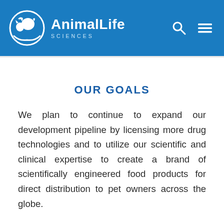[Figure (logo): AnimalLife Sciences logo: circular icon with dog, cat, and bird silhouettes on blue background, with company name 'AnimalLife SCIENCES' in white text]
OUR GOALS
We plan to continue to expand our development pipeline by licensing more drug technologies and to utilize our scientific and clinical expertise to create a brand of scientifically engineered food products for direct distribution to pet owners across the globe.